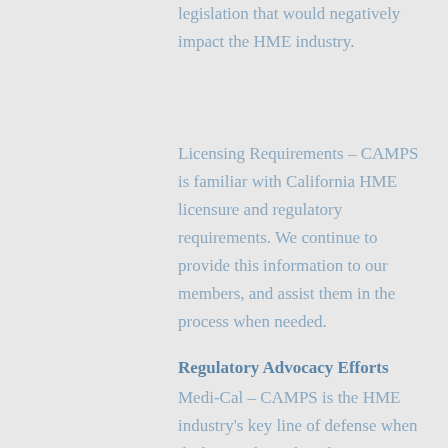legislation that would negatively impact the HME industry.
Licensing Requirements – CAMPS is familiar with California HME licensure and regulatory requirements.  We continue to provide this information to our members, and assist them in the process when needed.
Regulatory Advocacy Efforts
Medi-Cal – CAMPS is the HME industry's key line of defense when dealing with Medi-Cal issues.  Following are just a few of the things CAMPS members can expect: